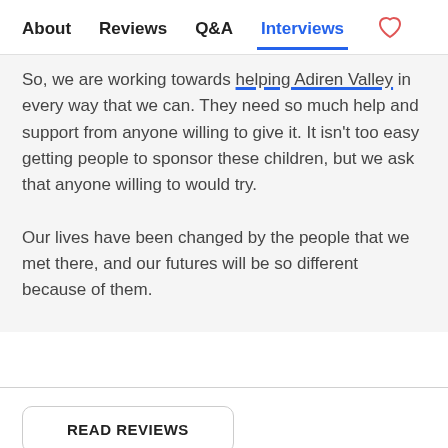About   Reviews   Q&A   Interviews  ♡
So, we are working towards helping Adiren Valley in every way that we can. They need so much help and support from anyone willing to give it. It isn't too easy getting people to sponsor these children, but we ask that anyone willing to would try.

Our lives have been changed by the people that we met there, and our futures will be so different because of them.
READ REVIEWS